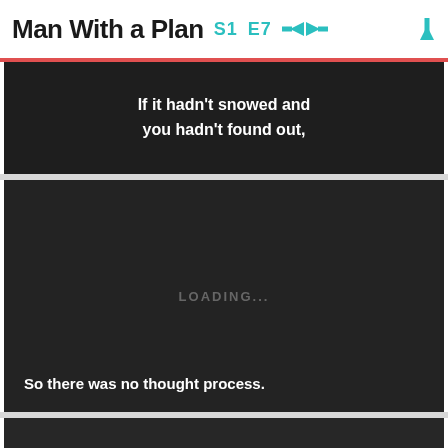Man With a Plan  S1  E7
If it hadn't snowed and you hadn't found out,
[Figure (screenshot): Dark video player panel showing LOADING... text in the center]
So there was no thought process.
[Figure (screenshot): Dark video player panel at the bottom, partially visible]